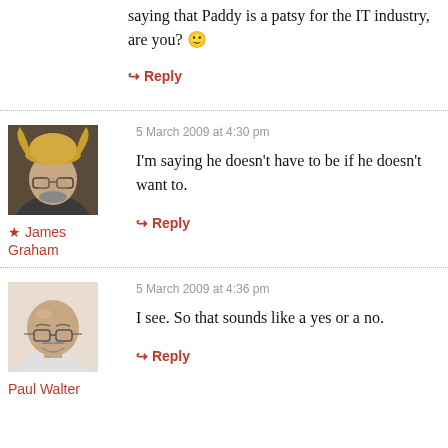saying that Paddy is a patsy for the IT industry, are you? 🙂
↪ Reply
[Figure (photo): Avatar photo of James Graham wearing a viking helmet]
★ James Graham
5 March 2009 at 4:30 pm
I'm saying he doesn't have to be if he doesn't want to.
↪ Reply
[Figure (photo): Avatar photo of Paul Walter, bald man with glasses smiling]
Paul Walter
5 March 2009 at 4:36 pm
I see. So that sounds like a yes or a no.
↪ Reply